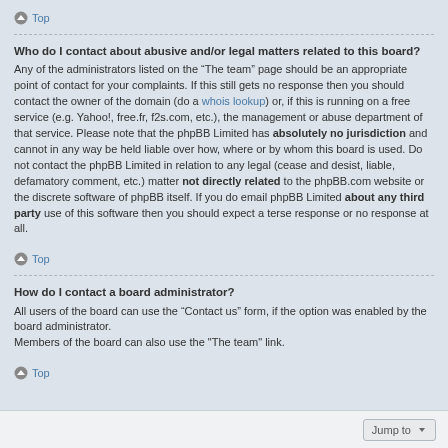Top
Who do I contact about abusive and/or legal matters related to this board?
Any of the administrators listed on the “The team” page should be an appropriate point of contact for your complaints. If this still gets no response then you should contact the owner of the domain (do a whois lookup) or, if this is running on a free service (e.g. Yahoo!, free.fr, f2s.com, etc.), the management or abuse department of that service. Please note that the phpBB Limited has absolutely no jurisdiction and cannot in any way be held liable over how, where or by whom this board is used. Do not contact the phpBB Limited in relation to any legal (cease and desist, liable, defamatory comment, etc.) matter not directly related to the phpBB.com website or the discrete software of phpBB itself. If you do email phpBB Limited about any third party use of this software then you should expect a terse response or no response at all.
Top
How do I contact a board administrator?
All users of the board can use the “Contact us” form, if the option was enabled by the board administrator.
Members of the board can also use the "The team" link.
Top